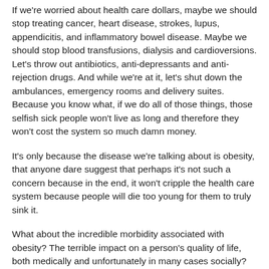If we're worried about health care dollars, maybe we should stop treating cancer, heart disease, strokes, lupus, appendicitis, and inflammatory bowel disease. Maybe we should stop blood transfusions, dialysis and cardioversions. Let's throw out antibiotics, anti-depressants and anti-rejection drugs. And while we're at it, let's shut down the ambulances, emergency rooms and delivery suites. Because you know what, if we do all of those things, those selfish sick people won't live as long and therefore they won't cost the system so much damn money.
It's only because the disease we're talking about is obesity, that anyone dare suggest that perhaps it's not such a concern because in the end, it won't cripple the health care system because people will die too young for them to truly sink it.
What about the incredible morbidity associated with obesity? The terrible impact on a person's quality of life, both medically and unfortunately in many cases socially? Are those not reasons in and of themselves to pursue every avenue of treatment? How did money enter this equation?